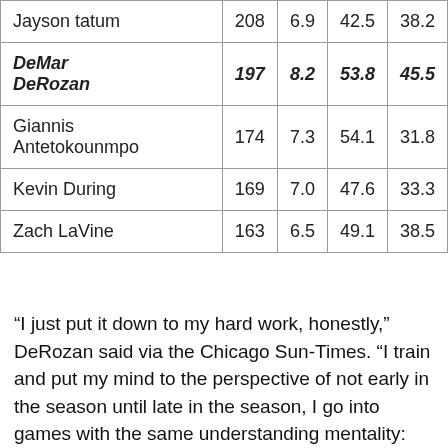| Jayson tatum | 208 | 6.9 | 42.5 | 38.2 |
| DeMar DeRozan | 197 | 8.2 | 53.8 | 45.5 |
| Giannis Antetokounmpo | 174 | 7.3 | 54.1 | 31.8 |
| Kevin During | 169 | 7.0 | 47.6 | 33.3 |
| Zach LaVine | 163 | 6.5 | 49.1 | 38.5 |
“I just put it down to my hard work, honestly,” DeRozan said via the Chicago Sun-Times. “I train and put my mind to the perspective of not early in the season until late in the season, I go into games with the same understanding mentality: I’m a huge boxing fan and I love to see a lot of guys